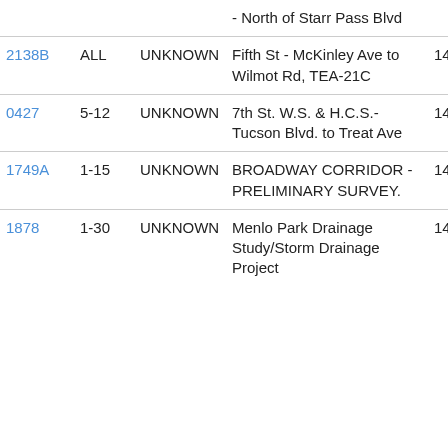| ID | Phase | Status | Description | Code |
| --- | --- | --- | --- | --- |
|  |  |  | - North of Starr Pass Blvd |  |
| 2138B | ALL | UNKNOWN | Fifth St - McKinley Ave to Wilmot Rd, TEA-21C | 14S |
| 0427 | 5-12 | UNKNOWN | 7th St. W.S. & H.C.S.-Tucson Blvd. to Treat Ave | 14S |
| 1749A | 1-15 | UNKNOWN | BROADWAY CORRIDOR - PRELIMINARY SURVEY. | 14S |
| 1878 | 1-30 | UNKNOWN | Menlo Park Drainage Study/Storm Drainage Project | 14S |